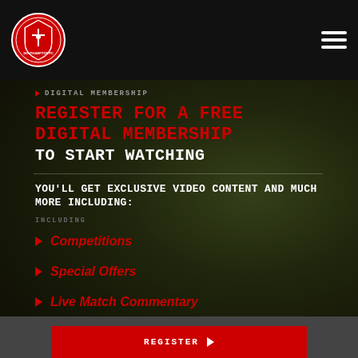[Figure (logo): Southampton FC circular crest logo]
Navigation bar with Southampton FC logo and hamburger menu
▶ DIGITAL MEMBERSHIP
REGISTER FOR A FREE DIGITAL MEMBERSHIP TO START WATCHING
YOU'LL GET EXCLUSIVE VIDEO CONTENT AND MUCH MORE INCLUDING:
INCLUDING
Competitions
Special Offers
Live Match Commentary